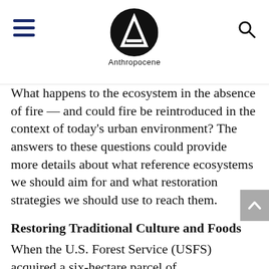Anthropocene
What happens to the ecosystem in the absence of fire — and could fire be reintroduced in the context of today's urban environment? The answers to these questions could provide more details about what reference ecosystems we should aim for and what restoration strategies we should use to reach them.
Restoring Traditional Culture and Foods
When the U.S. Forest Service (USFS) acquired a six-hectare parcel of